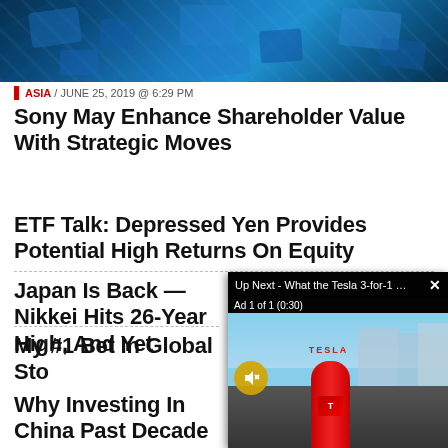[Figure (photo): Blue tech/digital background image with blurred icons/tiles]
ASIA / JUNE 25, 2019 @ 6:29 PM
Sony May Enhance Shareholder Value With Strategic Moves
ETF Talk: Depressed Yen Provides Potential High Returns On Equity
Japan Is Back — Nikkei Hits 26-Year High, And Yet
My #1 Bet In Global Sto
Why Investing In China Past Decade
[Figure (screenshot): Video ad overlay showing Tesla charging station with 'Up Next - What the Tesla 3-for-1 Stock ...' header and 'Ad 1 of 1 (0:30)' label]